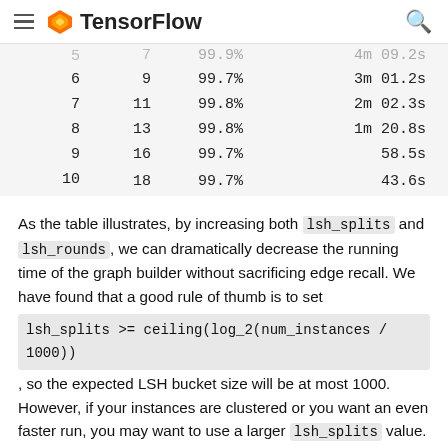TensorFlow
| 5 | 7 | 99.9% | 4m 09.2s |
| 6 | 9 | 99.7% | 3m 01.2s |
| 7 | 11 | 99.8% | 2m 02.3s |
| 8 | 13 | 99.8% | 1m 20.8s |
| 9 | 16 | 99.7% | 58.5s |
| 10 | 18 | 99.7% | 43.6s |
As the table illustrates, by increasing both lsh_splits and lsh_rounds, we can dramatically decrease the running time of the graph builder without sacrificing edge recall. We have found that a good rule of thumb is to set lsh_splits >= ceiling(log_2(num_instances / 1000)), so the expected LSH bucket size will be at most 1000. However, if your instances are clustered or you want an even faster run, you may want to use a larger lsh_splits value. Note, however, that when the similarity threshold is lower, recall rates are reduced more quickly the larger the value of lsh_splits is, so be